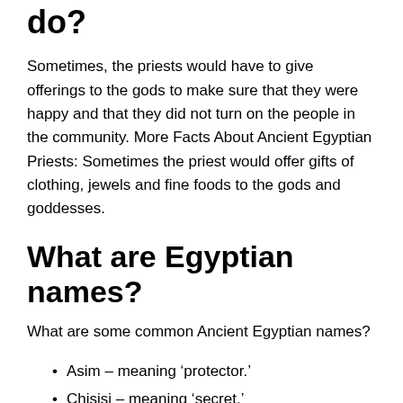do?
Sometimes, the priests would have to give offerings to the gods to make sure that they were happy and that they did not turn on the people in the community. More Facts About Ancient Egyptian Priests: Sometimes the priest would offer gifts of clothing, jewels and fine foods to the gods and goddesses.
What are Egyptian names?
What are some common Ancient Egyptian names?
Asim – meaning ‘protector.’
Chisisi – meaning ‘secret.’